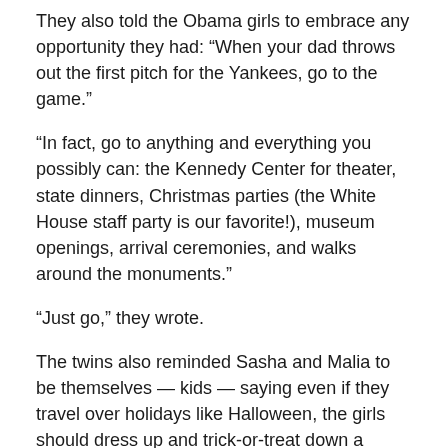They also told the Obama girls to embrace any opportunity they had: “When your dad throws out the first pitch for the Yankees, go to the game.”
“In fact, go to anything and everything you possibly can: the Kennedy Center for theater, state dinners, Christmas parties (the White House staff party is our favorite!), museum openings, arrival ceremonies, and walks around the monuments.”
“Just go,” they wrote.
The twins also reminded Sasha and Malia to be themselves — kids — saying even if they travel over holidays like Halloween, the girls should dress up and trick-or-treat down a plane aisle.